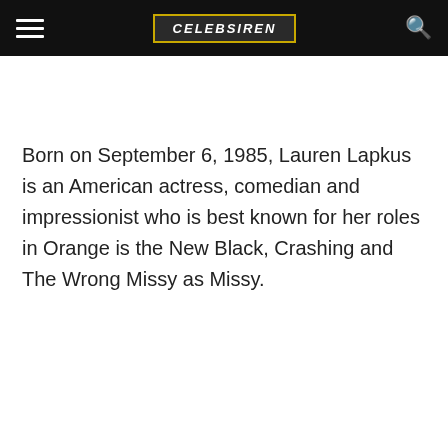CELEBSIREN
Born on September 6, 1985, Lauren Lapkus is an American actress, comedian and impressionist who is best known for her roles in Orange is the New Black, Crashing and The Wrong Missy as Missy.